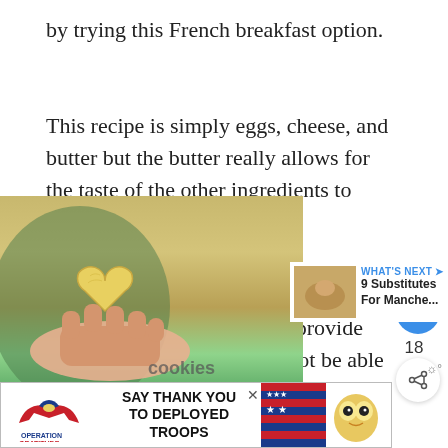by trying this French breakfast option.
This recipe is simply eggs, cheese, and butter but the butter really allows for the taste of the other ingredients to shine.
If you like this recipe, try making it with truffle salt because it'll provide that extra flavor you might not be able to get enough of.
[Figure (photo): Hands holding a heart-shaped yellow cheese or butter, with 'cookies' text visible at the bottom of the image]
[Figure (photo): Small thumbnail image next to 'WHAT'S NEXT' label showing 9 Substitutes For Manche...]
[Figure (other): Advertisement banner: Operation Gratitude logo, SAY THANK YOU TO DEPLOYED TROOPS text, patriotic imagery with cartoon owl]